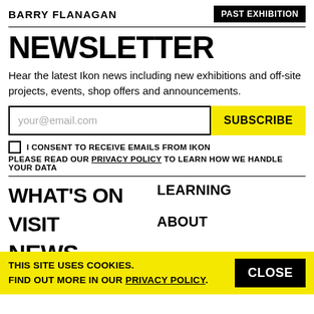BARRY FLANAGAN
PAST EXHIBITION
NEWSLETTER
Hear the latest Ikon news including new exhibitions and off-site projects, events, shop offers and announcements.
your@email.com
SUBSCRIBE
I CONSENT TO RECEIVE EMAILS FROM IKON
PLEASE READ OUR PRIVACY POLICY TO LEARN HOW WE HANDLE YOUR DATA
WHAT'S ON
LEARNING
VISIT
ABOUT
THIS SITE USES COOKIES. FIND OUT MORE IN OUR PRIVACY POLICY.
CLOSE
NEWS